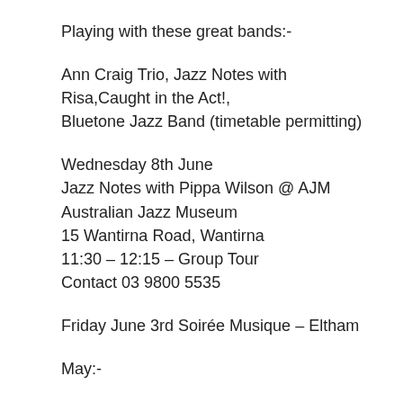Playing with these great bands:-
Ann Craig Trio, Jazz Notes with Risa,Caught in the Act!, Bluetone Jazz Band (timetable permitting)
Wednesday 8th June
Jazz Notes with Pippa Wilson @ AJM
Australian Jazz Museum
15 Wantirna Road, Wantirna
11:30 – 12:15 – Group Tour
Contact 03 9800 5535
Friday June 3rd Soirée Musique – Eltham
May:-
Monday 30th May,
Ann & Kevin (Jazz Notes Duo) @ Radio Eastern ECB FM
1–2:30pm